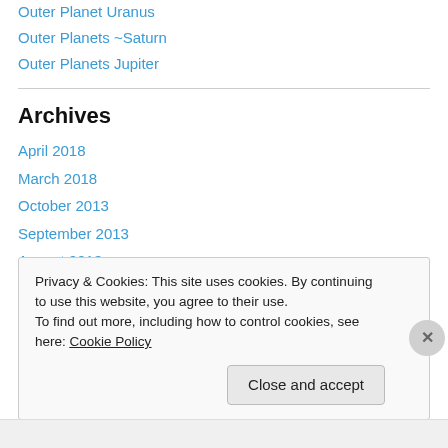Outer Planet Uranus
Outer Planets ~Saturn
Outer Planets Jupiter
Archives
April 2018
March 2018
October 2013
September 2013
August 2013
July 2013
Privacy & Cookies: This site uses cookies. By continuing to use this website, you agree to their use. To find out more, including how to control cookies, see here: Cookie Policy
Close and accept